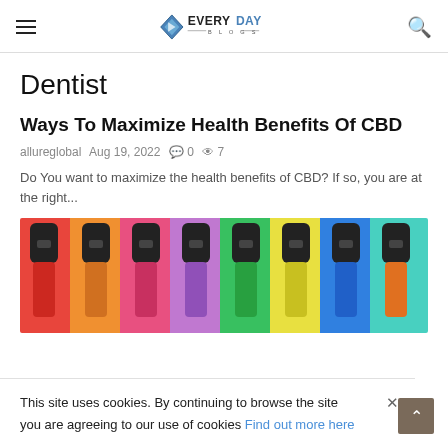EVERYDAY BLOGS
Dentist
Ways To Maximize Health Benefits Of CBD
allureglobal  Aug 19, 2022  0  7
Do You want to maximize the health benefits of CBD? If so, you are at the right...
[Figure (photo): Colorful row of vape/CBD pen devices in various colors (red, orange, pink, purple, green, yellow, blue, teal, orange) against matching colored background panels]
This site uses cookies. By continuing to browse the site you are agreeing to our use of cookies Find out more here